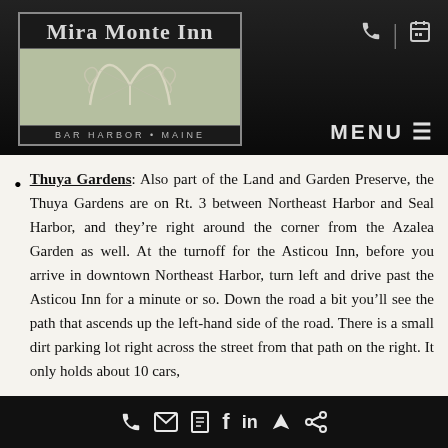Mira Monte Inn — Bar Harbor • Maine
Thuya Gardens: Also part of the Land and Garden Preserve, the Thuya Gardens are on Rt. 3 between Northeast Harbor and Seal Harbor, and they're right around the corner from the Azalea Garden as well. At the turnoff for the Asticou Inn, before you arrive in downtown Northeast Harbor, turn left and drive past the Asticou Inn for a minute or so. Down the road a bit you'll see the path that ascends up the left-hand side of the road. There is a small dirt parking lot right across the street from that path on the right. It only holds about 10 cars,
Phone | Email | Book | Facebook | LinkedIn | Location | Share